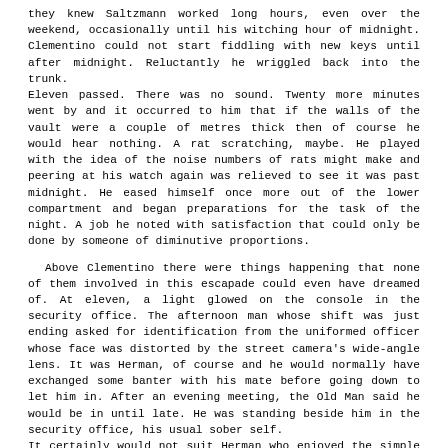they knew Saltzmann worked long hours, even over the weekend, occasionally until his witching hour of midnight. Clementino could not start fiddling with new keys until after midnight. Reluctantly he wriggled back into the trunk.
Eleven passed. There was no sound. Twenty more minutes went by and it occurred to him that if the walls of the vault were a couple of metres thick then of course he would hear nothing. A rat scratching, maybe. He played with the idea of the noise numbers of rats might make and peering at his watch again was relieved to see it was past midnight. He eased himself once more out of the lower compartment and began preparations for the task of the night. A job he noted with satisfaction that could only be done by someone of diminutive proportions.

  Above Clementino there were things happening that none of them involved in this escapade could even have dreamed of. At eleven, a light glowed on the console in the security office. The afternoon man whose shift was just ending asked for identification from the uniformed officer whose face was distorted by the street camera's wide-angle lens. It was Herman, of course and he would normally have exchanged some banter with his mate before going down to let him in. After an evening meeting, the Old Man said he would be in until late. He was standing beside him in the security office, his usual sober self.
It certainly would not suit Herman who enjoyed the simple pleasure of the night shift of sitting almost literally on one of the biggest wads in town. A bit of a lad, a ziemlicher kerl, he knew how girls could be charmed by talk of high finance, bank notes stacked to the ceiling and 'more gold than in Fort Knox,' even if he could only pull a few francs from his pocket. It worked for him and the occasional bright-eyed lass was let in for a little tour and reciprocal peek at her goodies.
It was approaching midnight when Saltzmann on the floor above Security cleared the last of his work concerned with the city's Institute of Bankers. One task remained, necessitating a trip down to the vault. Smoothing his hair, he shifted the antique gas fire a fraction with his foot and moved a small lever inside the fireplace. A panel in the wall adjacent to the